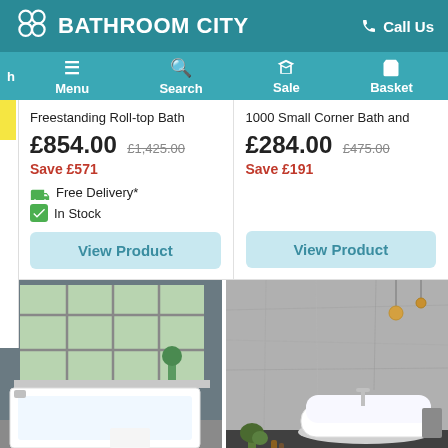BATHROOM CITY | Call Us | Menu | Search | Sale | Basket
Freestanding Roll-top Bath
£854.00 £1,425.00 Save £571 Free Delivery* In Stock
View Product
1000 Small Corner Bath and
£284.00 £475.00 Save £191
View Product
[Figure (photo): White rectangular bath in a grey bathroom with a large window and a plant]
[Figure (photo): Freestanding white bath in a concrete-walled room with hanging pendant lights and a plant]